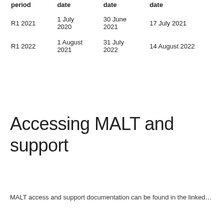| period | date | date | date |
| --- | --- | --- | --- |
| R1 2021 | 1 July 2020 | 30 June 2021 | 17 July 2021 |
| R1 2022 | 1 August 2021 | 31 July 2022 | 14 August 2022 |
Accessing MALT and support
MALT access and support documentation can be found in the linked...